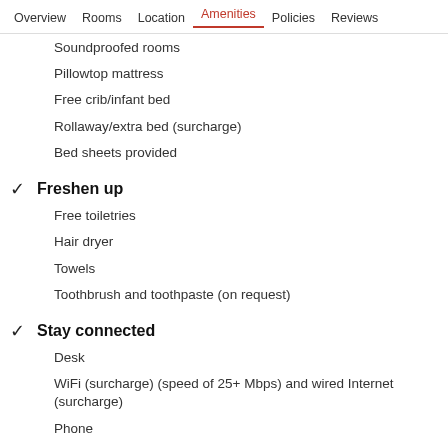Overview  Rooms  Location  Amenities  Policies  Reviews
Soundproofed rooms
Pillowtop mattress
Free crib/infant bed
Rollaway/extra bed (surcharge)
Bed sheets provided
Freshen up
Free toiletries
Hair dryer
Towels
Toothbrush and toothpaste (on request)
Stay connected
Desk
WiFi (surcharge) (speed of 25+ Mbps) and wired Internet (surcharge)
Phone